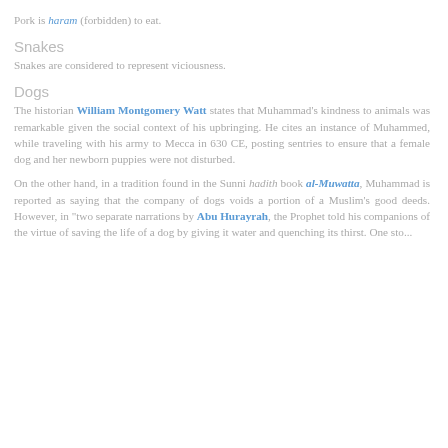Pork is haram (forbidden) to eat.
Snakes
Snakes are considered to represent viciousness.
Dogs
The historian William Montgomery Watt states that Muhammad's kindness to animals was remarkable given the social context of his upbringing. He cites an instance of Muhammed, while traveling with his army to Mecca in 630 CE, posting sentries to ensure that a female dog and her newborn puppies were not disturbed.
On the other hand, in a tradition found in the Sunni hadith book al-Muwatta, Muhammad is reported as saying that the company of dogs voids a portion of a Muslim's good deeds. However, in "two separate narrations by Abu Hurayrah, the Prophet told his companions of the virtue of saving the life of a dog by giving it water and quenching its thirst. One sto...